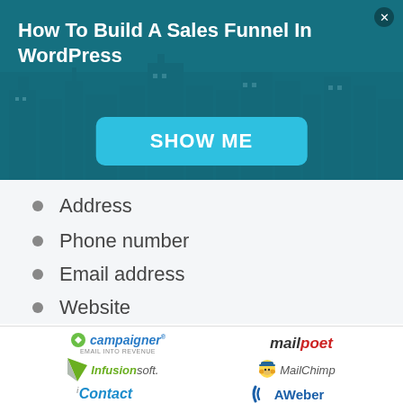[Figure (infographic): Dark teal banner with city skyline background, bold white title 'How To Build A Sales Funnel In WordPress', a cyan 'SHOW ME' button, and a close (X) button in top-right corner.]
Address
Phone number
Email address
Website
[Figure (logo): Grid of email marketing service logos: Campaigner, MailPoet, Infusionsoft, MailChimp, iContact, AWeber]